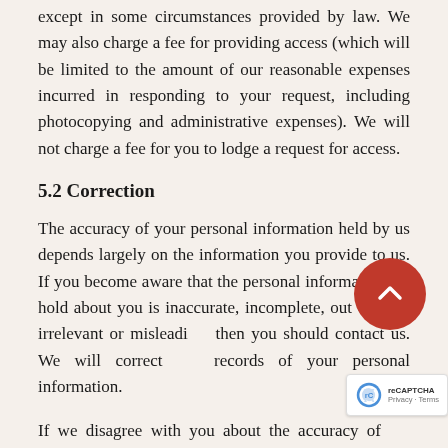except in some circumstances provided by law. We may also charge a fee for providing access (which will be limited to the amount of our reasonable expenses incurred in responding to your request, including photocopying and administrative expenses). We will not charge a fee for you to lodge a request for access.
5.2 Correction
The accuracy of your personal information held by us depends largely on the information you provide to us. If you become aware that the personal information we hold about you is inaccurate, incomplete, out of date, irrelevant or misleading, then you should contact us. We will correct our records of your personal information.
If we disagree with you about the accuracy of the personal information we hold about you, we will keep a record that there is a difference of opinion